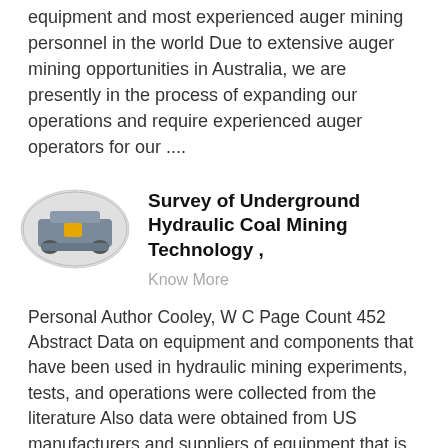equipment and most experienced auger mining personnel in the world Due to extensive auger mining opportunities in Australia, we are presently in the process of expanding our operations and require experienced auger operators for our ....
[Figure (photo): Oval-framed photo of industrial mining machinery (auger/hydraulic equipment) in a workshop setting]
Survey of Underground Hydraulic Coal Mining Technology ,
Know More
Personal Author Cooley, W C Page Count 452 Abstract Data on equipment and components that have been used in hydraulic mining experiments, tests, and operations were collected from the literature Also data were obtained from US manufacturers and suppliers of equipment that is potentially applicable and available in the US for ....
[Figure (logo): Oval logo/emblem for OEM Underground Mining Parts, partially visible at bottom]
OEM Underground Mining Parts